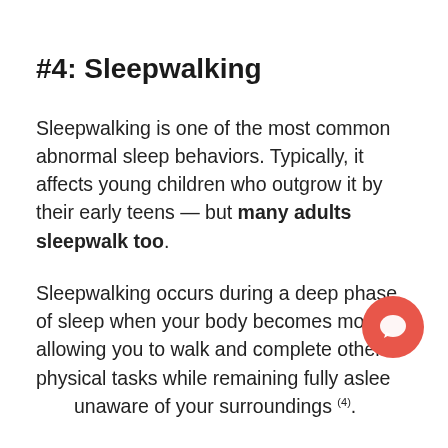#4: Sleepwalking
Sleepwalking is one of the most common abnormal sleep behaviors. Typically, it affects young children who outgrow it by their early teens — but many adults sleepwalk too.
Sleepwalking occurs during a deep phase of sleep when your body becomes mobile, allowing you to walk and complete other physical tasks while remaining fully asleep and unaware of your surroundings (4).
People have been known to leave their house